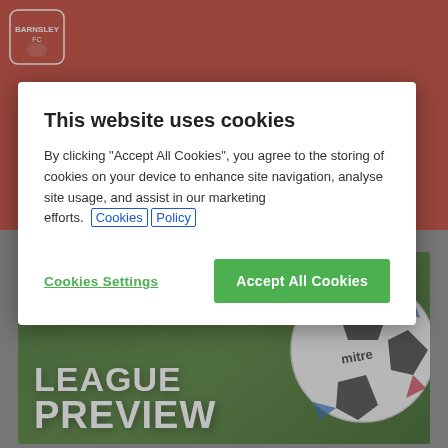[Figure (screenshot): Red website header background with club logo (Barnsley FC crest) in top-left corner]
This website uses cookies
By clicking "Accept All Cookies", you agree to the storing of cookies on your device to enhance site navigation, analyse site usage, and assist in our marketing efforts. Cookies Policy
Cookies Settings | Accept All Cookies
[Figure (photo): Sky Bet League One / EFL logo badge on green background. Large text reads LEAGUE PREVIEW with a Mitre football on the right side.]